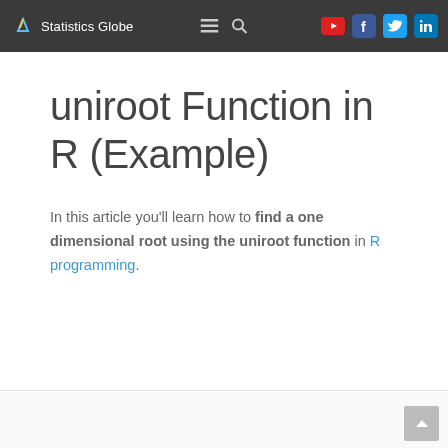Statistics Globe
uniroot Function in R (Example)
In this article you'll learn how to find a one dimensional root using the uniroot function in R programming.